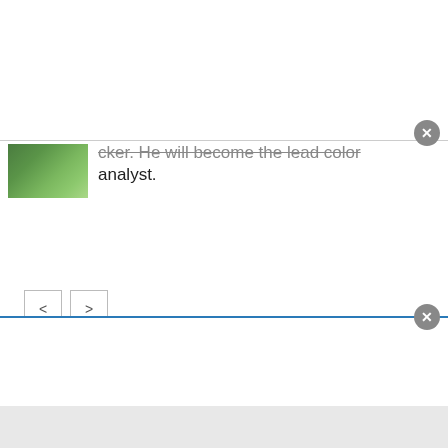[Figure (screenshot): Top white ad overlay area with close button (X) in gray circle]
...cker. He will become the lead color analyst.
[Figure (screenshot): Navigation arrows left and right in square buttons]
LISTEN NOW
WHBO AM 1040
WWBA AM 820
[Figure (screenshot): Bottom white overlay area with close button and gray footer bar]